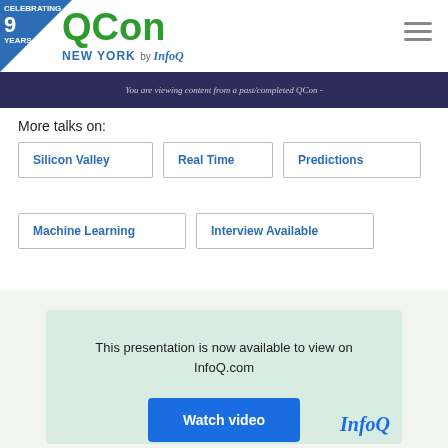QCon NEW YORK by InfoQ — Celebrating 9 Years
You are viewing content from a past/completed QCon -
More talks on:
Silicon Valley
Real Time
Predictions
Machine Learning
Interview Available
[Figure (screenshot): Video card showing 'This presentation is now available to view on InfoQ.com' with a Watch video button and InfoQ logo watermark]